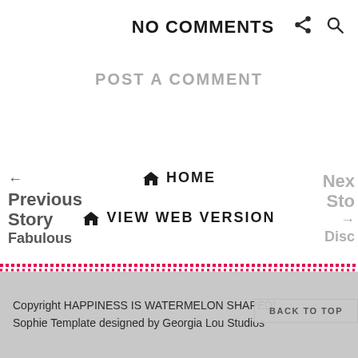NO COMMENTS
POST A COMMENT
HOME
VIEW WEB VERSION
← Previous Story Fabulous
Nex Sto → Disc
Copyright HAPPINESS IS WATERMELON SHAPED!. Sophie Template designed by Georgia Lou Studios